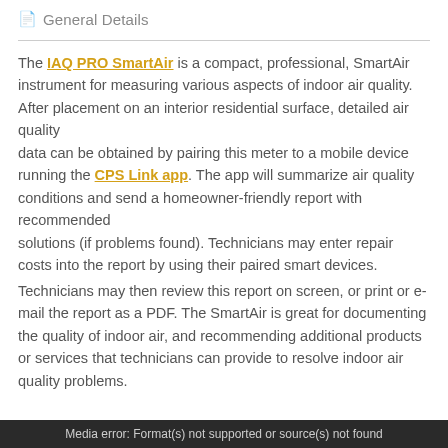General Details
The IAQ PRO SmartAir is a compact, professional, SmartAir instrument for measuring various aspects of indoor air quality. After placement on an interior residential surface, detailed air quality data can be obtained by pairing this meter to a mobile device running the CPS Link app. The app will summarize air quality conditions and send a homeowner-friendly report with recommended solutions (if problems found). Technicians may enter repair costs into the report by using their paired smart devices.
Technicians may then review this report on screen, or print or e-mail the report as a PDF. The SmartAir is great for documenting the quality of indoor air, and recommending additional products or services that technicians can provide to resolve indoor air quality problems.
Media error: Format(s) not supported or source(s) not found